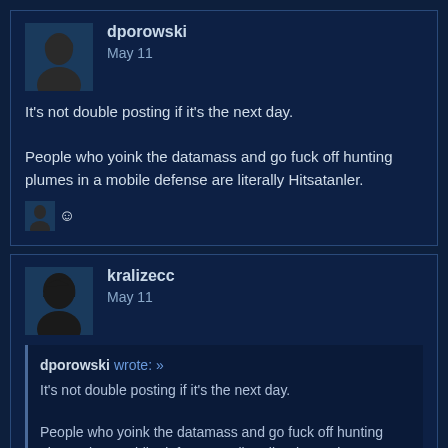[Figure (other): User avatar silhouette for dporowski]
dporowski
May 11
It's not double posting if it's the next day.
People who yoink the datamass and go fuck off hunting plumes in a mobile defense are literally Hitsatanler.
[Figure (other): Small reaction avatar with smiley emoji]
[Figure (other): User avatar silhouette for kralizecc]
kralizecc
May 11
dporowski wrote: »
It's not double posting if it's the next day.

People who yoink the datamass and go fuck off hunting plumes in a mobile defense are literally Hitsatanler.